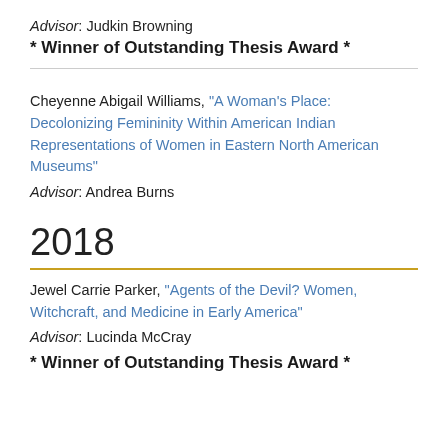Advisor: Judkin Browning
* Winner of Outstanding Thesis Award *
Cheyenne Abigail Williams, "A Woman's Place: Decolonizing Femininity Within American Indian Representations of Women in Eastern North American Museums"
Advisor: Andrea Burns
2018
Jewel Carrie Parker, "Agents of the Devil? Women, Witchcraft, and Medicine in Early America"
Advisor: Lucinda McCray
* Winner of Outstanding Thesis Award *